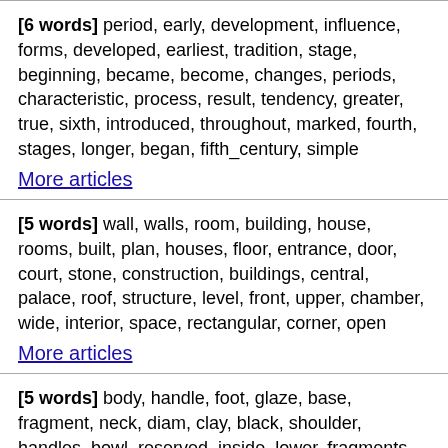[6 words] period, early, development, influence, forms, developed, earliest, tradition, stage, beginning, became, become, changes, periods, characteristic, process, result, tendency, greater, true, sixth, introduced, throughout, marked, fourth, stages, longer, began, fifth_century, simple
More articles
[5 words] wall, walls, room, building, house, rooms, built, plan, houses, floor, entrance, door, court, stone, construction, buildings, central, palace, roof, structure, level, front, upper, chamber, wide, interior, space, rectangular, corner, open
More articles
[5 words] body, handle, foot, glaze, base, fragment, neck, diam, clay, black, shoulder, handles, bowl, reserved, inside, lower, fragments, wall, slightly, upper, bottom, band, vertical, ring, shape, glazed, flat, interior, horizontal, diameter
More articles